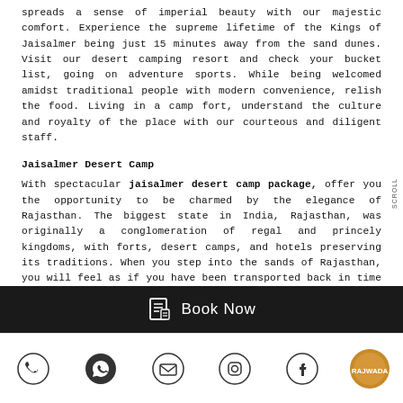spreads a sense of imperial beauty with our majestic comfort. Experience the supreme lifetime of the Kings of Jaisalmer being just 15 minutes away from the sand dunes. Visit our desert camping resort and check your bucket list, going on adventure sports. While being welcomed amidst traditional people with modern convenience, relish the food. Living in a camp fort, understand the culture and royalty of the place with our courteous and diligent staff.
Jaisalmer Desert Camp
With spectacular jaisalmer desert camp package, offer you the opportunity to be charmed by the elegance of Rajasthan. The biggest state in India, Rajasthan, was originally a conglomeration of regal and princely kingdoms, with forts, desert camps, and hotels preserving its traditions. When you step into the sands of Rajasthan, you will feel as if you have been transported back in time to time of unique culture that is still standing firm. Rajwada Desert Camp is welcoming you to attract your interest by offering fantastic Jaisalmer tour packages that will allow you to experience conditions of traditional...
Book Now
[Figure (infographic): Bottom icon bar with phone, WhatsApp, email, Instagram, Facebook icons and a gold circular logo on the right]